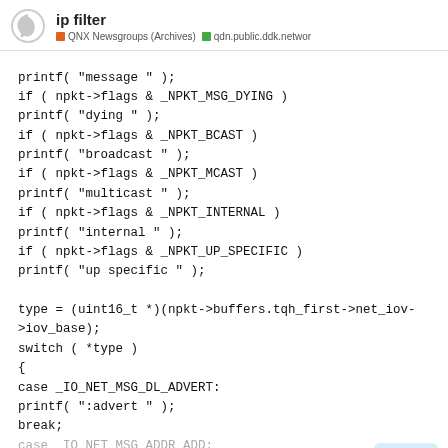ip filter — QNX Newsgroups (Archives) — qdn.public.ddk.networ
printf( "message " );
if ( npkt->flags & _NPKT_MSG_DYING )
printf( "dying " );
if ( npkt->flags & _NPKT_BCAST )
printf( "broadcast " );
if ( npkt->flags & _NPKT_MCAST )
printf( "multicast " );
if ( npkt->flags & _NPKT_INTERNAL )
printf( "internal " );
if ( npkt->flags & _NPKT_UP_SPECIFIC )
printf( "up specific " );

type = (uint16_t *)(npkt->buffers.tqh_first->net_iov->iov_base);
switch ( *type )
{
case _IO_NET_MSG_DL_ADVERT:
printf( ":advert " );
break;
case _IO_NET_MSG_ADDR_ADD: